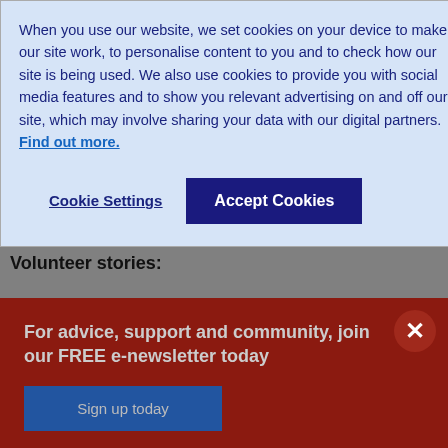When you use our website, we set cookies on your device to make our site work, to personalise content to you and to check how our site is being used. We also use cookies to provide you with social media features and to show you relevant advertising on and off our site, which may involve sharing your data with our digital partners. Find out more.
Cookie Settings
Accept Cookies
and Surrey
Volunteer stories:
For advice, support and community, join our FREE e-newsletter today
Sign up today